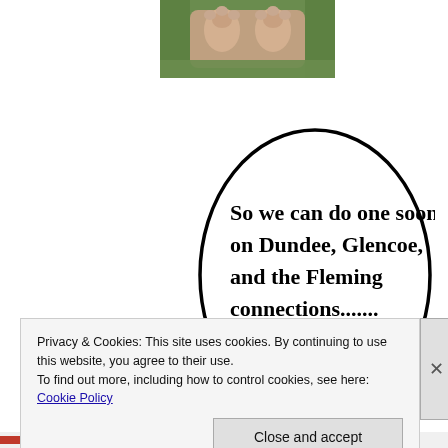[Figure (photo): Close-up photo of what appears to be a cat's paws on foliage, partially visible at top of page]
[Figure (illustration): Hand-drawn style speech bubble containing bold text: 'So we can do one soon on Dundee, Glencoe, and the Fleming connections......']
[Figure (photo): Close-up photo of two white mice/hamsters facing the camera]
Privacy & Cookies: This site uses cookies. By continuing to use this website, you agree to their use.
To find out more, including how to control cookies, see here: Cookie Policy
Close and accept